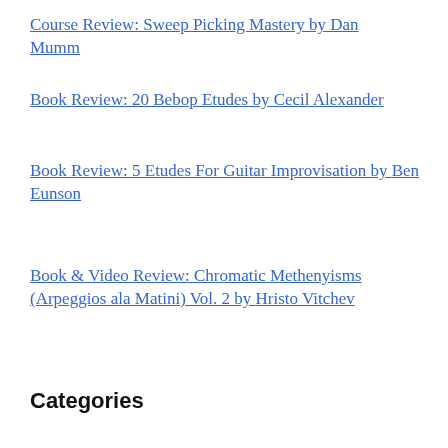Course Review: Sweep Picking Mastery by Dan Mumm
Book Review: 20 Bebop Etudes by Cecil Alexander
Book Review: 5 Etudes For Guitar Improvisation by Ben Eunson
Book & Video Review: Chromatic Methenyisms (Arpeggios ala Matini) Vol. 2 by Hristo Vitchev
Categories
Ask Az (2)
Beyond Music (82)
Blues Guitar (6)
Book Reviews (128)
business book (16)
Chord Melody (34)